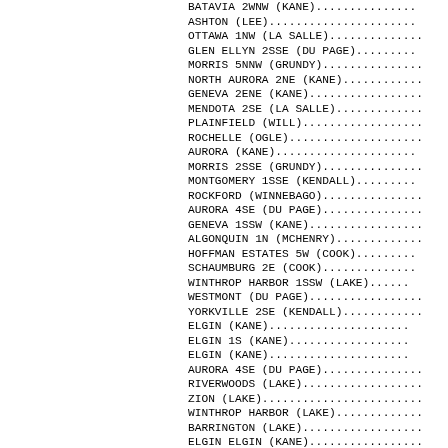BATAVIA 2WNW (KANE)...............
ASHTON (LEE).....................
OTTAWA 1NW (LA SALLE)............
GLEN ELLYN 2SSE (DU PAGE)........
MORRIS 5NNW (GRUNDY).............
NORTH AURORA 2NE (KANE)..........
GENEVA 2ENE (KANE)...............
MENDOTA 2SE (LA SALLE)...........
PLAINFIELD (WILL)................
ROCHELLE (OGLE)..................
AURORA (KANE)....................
MORRIS 2SSE (GRUNDY).............
MONTGOMERY 1SSE (KENDALL)........
ROCKFORD (WINNEBAGO).............
AURORA 4SE (DU PAGE).............
GENEVA 1SSW (KANE)...............
ALGONQUIN 1N (MCHENRY)...........
HOFFMAN ESTATES 5W (COOK)........
SCHAUMBURG  2E (COOK).............
WINTHROP HARBOR 1SSW (LAKE).....
WESTMONT (DU PAGE)...............
YORKVILLE 2SE (KENDALL)..........
ELGIN (KANE).....................
ELGIN 1S (KANE)..................
ELGIN (KANE).....................
AURORA 4SE (DU PAGE).............
RIVERWOODS (LAKE)................
ZION (LAKE)......................
WINTHROP HARBOR (LAKE)...........
BARRINGTON (LAKE)................
ELGIN ELGIN (KANE)...............